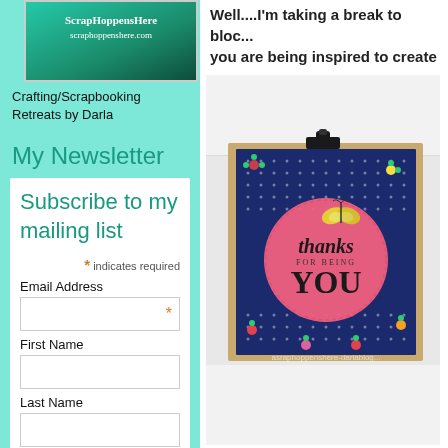[Figure (photo): Crafting/Scrapbooking Retreats by Darla banner image with teal gradient background]
Crafting/Scrapbooking Retreats by Darla
My Newsletter
Subscribe to my mailing list
* indicates required
Email Address
First Name
Last Name
Well....I'm taking a break to blog... you are being inspired to create
[Figure (photo): Handmade thank you card on clipboard. Card features navy blue floral patterned paper with a large pink circle and text 'thanks FOR BEING YOU' with a yellow butterfly embellishment. Watermark: asraphoppenshere-darlablog...]